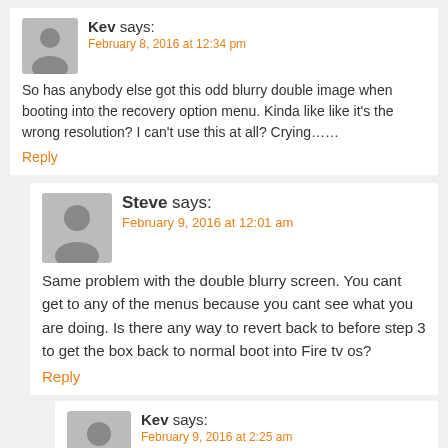Kev says: February 8, 2016 at 12:34 pm
So has anybody else got this odd blurry double image when booting into the recovery option menu. Kinda like like it's the wrong resolution? I can't use this at all? Crying……
Reply
Steve says: February 9, 2016 at 12:01 am
Same problem with the double blurry screen. You cant get to any of the menus because you cant see what you are doing. Is there any way to revert back to before step 3 to get the box back to normal boot into Fire tv os?
Reply
Kev says: February 9, 2016 at 2:25 am
Am wondering the same thing. Rbox told me that he